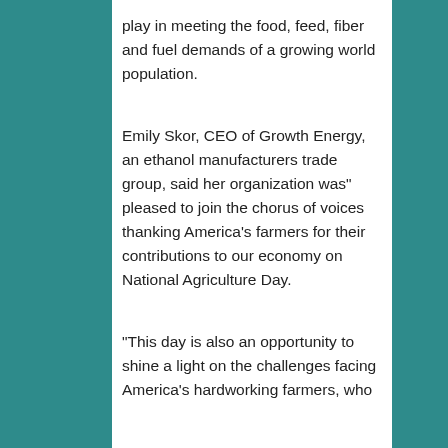play in meeting the food, feed, fiber and fuel demands of a growing world population.
Emily Skor, CEO of Growth Energy, an ethanol manufacturers trade group, said her organization was" pleased to join the chorus of voices thanking America's farmers for their contributions to our economy on National Agriculture Day.
"This day is also an opportunity to shine a light on the challenges facing America's hardworking farmers, who